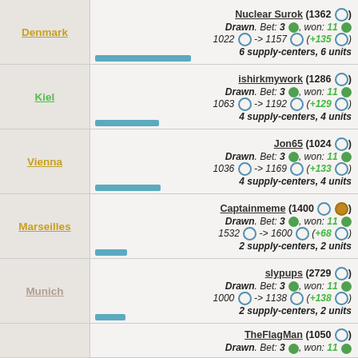Denmark | Nuclear Surok (1362) Drawn. Bet: 3, won: 11 | 1022 -> 1157 (+135) | 6 supply-centers, 6 units
Kiel | ishirkmywork (1286) Drawn. Bet: 3, won: 11 | 1063 -> 1192 (+129) | 4 supply-centers, 4 units
Vienna | Jon65 (1024) Drawn. Bet: 3, won: 11 | 1036 -> 1169 (+133) | 4 supply-centers, 4 units
Marseilles | Captainmeme (1400) Drawn. Bet: 3, won: 11 | 1532 -> 1600 (+68) | 2 supply-centers, 2 units
Munich | slypups (2729) Drawn. Bet: 3, won: 11 | 1000 -> 1138 (+138) | 2 supply-centers, 2 units
TheFlagMan (1050) Drawn. Bet: 3, won: 11